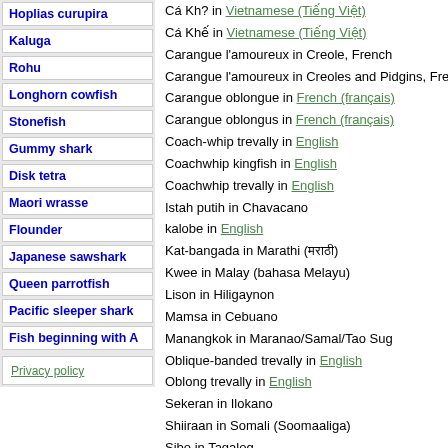Hoplias curupira
Kaluga
Rohu
Longhorn cowfish
Stonefish
Gummy shark
Disk tetra
Maori wrasse
Flounder
Japanese sawshark
Queen parrotfish
Pacific sleeper shark
Fish beginning with A
Privacy policy
Cá Kh? in Vietnamese (Tiếng Việt)
Cá Khế in Vietnamese (Tiếng Việt)
Carangue l'amoureux in Creole, French
Carangue l'amoureux in Creoles and Pidgins, Fren
Carangue oblongue in French (français)
Carangue oblongus in French (français)
Coach-whip trevally in English
Coachwhip kingfish in English
Coachwhip trevally in English
Istah putih in Chavacano
kalobe in English
Kat-bangada in Marathi (मराठी)
Kwee in Malay (bahasa Melayu)
Lison in Hiligaynon
Mamsa in Cebuano
Manangkok in Maranao/Samal/Tao Sug
Oblique-banded trevally in English
Oblong trevally in English
Sekeran in Ilokano
Shiiraan in Somali (Soomaaliga)
Sibo in Tagalog
Sibong lawihan in Tagalog
Sweepvin-koningvis in Afrikaans
Talakitok in Agutaynen
Talakitok in Bikol
Talakitok in Cebuano